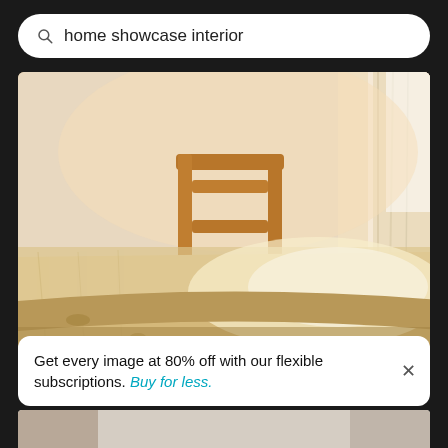home showcase interior
[Figure (photo): A wooden dining table in the foreground with a wooden chair behind it, soft natural light coming through sheer curtains on the right side of the image, warm interior setting.]
Get every image at 80% off with our flexible subscriptions. Buy for less.